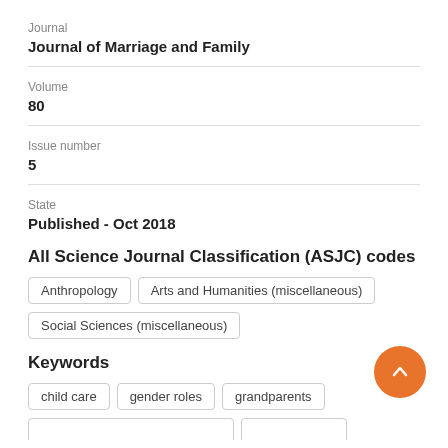Journal
Journal of Marriage and Family
Volume
80
Issue number
5
State
Published - Oct 2018
All Science Journal Classification (ASJC) codes
Anthropology
Arts and Humanities (miscellaneous)
Social Sciences (miscellaneous)
Keywords
child care
gender roles
grandparents